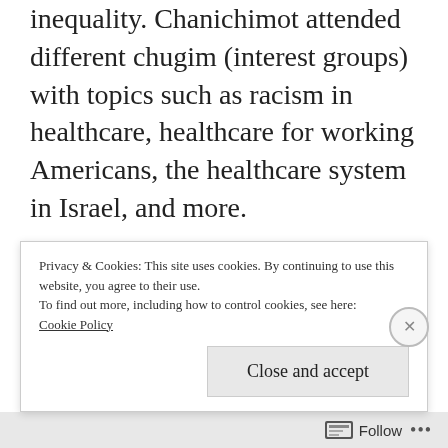inequality. Chanichimot attended different chugim (interest groups) with topics such as racism in healthcare, healthcare for working Americans, the healthcare system in Israel, and more.
We finished out the day with a pool mesibah (party) and a delicious Princess Peach Cobbler. Chanichimot learned so much and had tons of fun while doing it!
Privacy & Cookies: This site uses cookies. By continuing to use this website, you agree to their use.
To find out more, including how to control cookies, see here: Cookie Policy
Close and accept
Follow